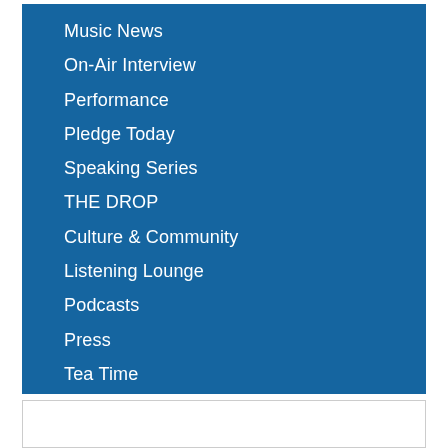Music News
On-Air Interview
Performance
Pledge Today
Speaking Series
THE DROP
Culture & Community
Listening Lounge
Podcasts
Press
Tea Time
Virtual Concert
Wine and Food